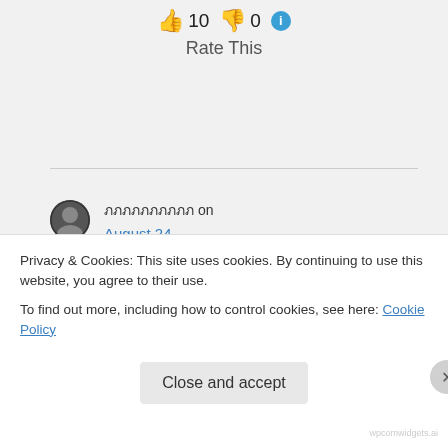[Figure (infographic): Rating display showing thumbs up icon with count 10, thumbs down icon with count 0, and an info icon, with 'Rate This' label below]
Rate This
ภภภภภภภภภภ on August 24, 2016 at 03:13
It takes many years for the GMO’s with implications
Privacy & Cookies: This site uses cookies. By continuing to use this website, you agree to their use.
To find out more, including how to control cookies, see here: Cookie Policy
Close and accept